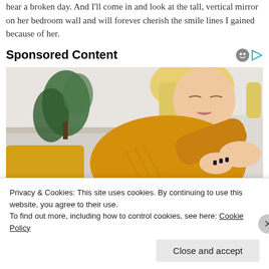hear a broken day. And I'll come in and look at the tall, vertical mirror on her bedroom wall and will forever cherish the smile lines I gained because of her.
Sponsored Content
[Figure (photo): A blonde woman in a yellow knit sweater sitting on a couch, looking down at her elbow/arm, examining her skin. A green plant is visible in the background.]
Privacy & Cookies: This site uses cookies. By continuing to use this website, you agree to their use.
To find out more, including how to control cookies, see here: Cookie Policy
Close and accept